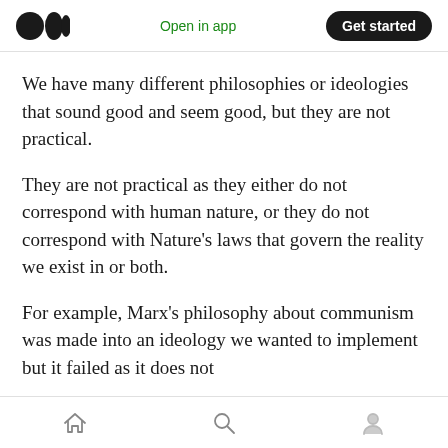Open in app | Get started
We have many different philosophies or ideologies that sound good and seem good, but they are not practical.
They are not practical as they either do not correspond with human nature, or they do not correspond with Nature’s laws that govern the reality we exist in or both.
For example, Marx’s philosophy about communism was made into an ideology we wanted to implement but it failed as it does not
Home | Search | Profile